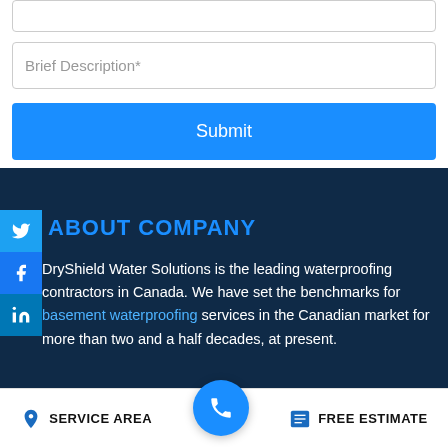[Figure (screenshot): Form input field (top, partially visible) with border]
Brief Description*
[Figure (screenshot): Blue Submit button]
ABOUT COMPANY
DryShield Water Solutions is the leading waterproofing contractors in Canada. We have set the benchmarks for basement waterproofing services in the Canadian market for more than two and a half decades, at present.
[Figure (screenshot): Bottom navigation bar with SERVICE AREA, phone call button, and FREE ESTIMATE]